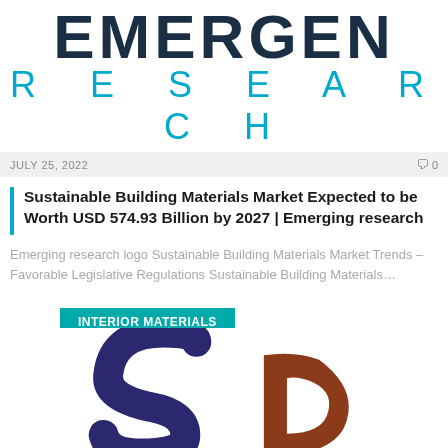[Figure (logo): Emergen Research logo with EMERGEN in dark navy and RESEARCH in teal/cyan]
JULY 25, 2022   0
Sustainable Building Materials Market Expected to be Worth USD 574.93 Billion by 2027 | Emerging research
Emerging research logo Sustainable Building Materials Market Trends – Favorable Legislative Regulations Sustainable Building Materials…
INTERIOR MATERIALS
[Figure (illustration): Large stylized letters S and D in dark blue and brown/rust colors at the bottom of the page]